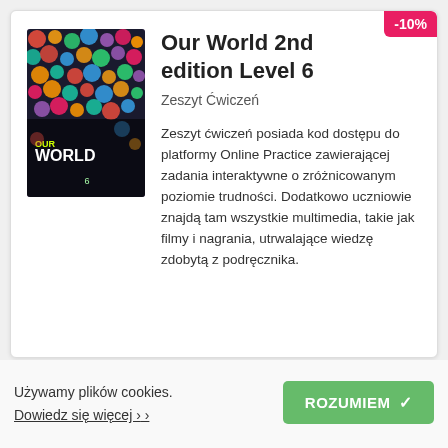[Figure (illustration): Book cover for 'Our World' 2nd edition Level 6 showing colorful spheres/bubbles pattern with the title 'OUR WORLD' displayed]
Our World 2nd edition Level 6
Zeszyt Ćwiczeń
Zeszyt ćwiczeń posiada kod dostępu do platformy Online Practice zawierającej zadania interaktywne o zróżnicowanym poziomie trudności. Dodatkowo uczniowie znajdą tam wszystkie multimedia, takie jak filmy i nagrania, utrwalające wiedzę zdobytą z podręcznika.
Używamy plików cookies.
Dowiedz się więcej ›
ROZUMIEM